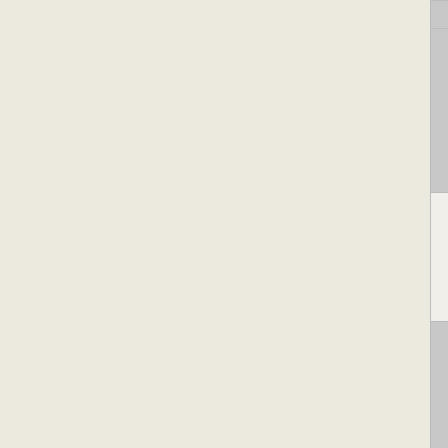|  | Accession | Gene | Description |
| --- | --- | --- | --- |
| ☐ | NC_010682 | Rpic_1841 | two component heavy metal response transcriptional regulator winged family |
| ☐ | NC_007347 | Reut_A1815 | two component heavy metal response transcriptional regulator |
| ☐ | NC_011662 | Tmz1t_4055 | two component heavy metal response transcriptional regulator winged family |
| ☐ | NC_010682 | Rpic_1780 | two component heavy metal response transcriptional regulator winged family |